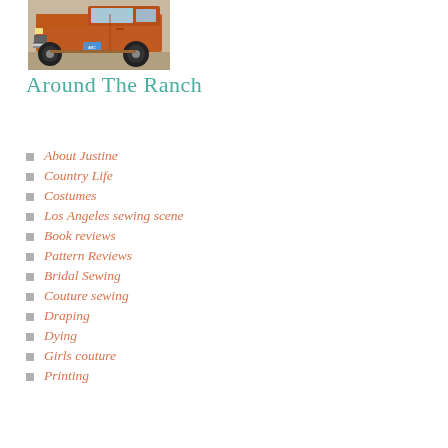[Figure (photo): Front view of an orange vintage pickup truck on a gravel surface, showing the front bumper, grille, headlights, and large off-road tires.]
Around The Ranch
About Justine
Country Life
Costumes
Los Angeles sewing scene
Book reviews
Pattern Reviews
Bridal Sewing
Couture sewing
Draping
Dying
Girls couture
Printing